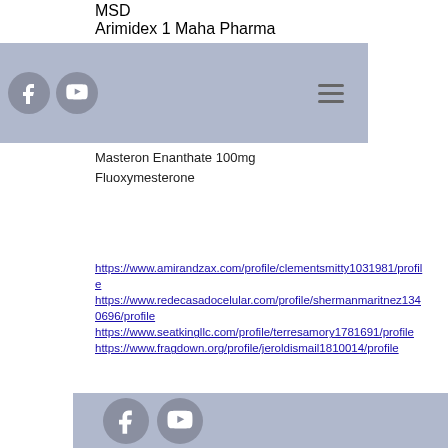MSD
Arimidex 1 Maha Pharma
[Figure (other): Navigation bar with Facebook and YouTube social icons on the left and hamburger menu icon on the right, light blue/grey background]
Masteron Enanthate 100mg
Fluoxymesterone
https://www.amirandzax.com/profile/clementsmitty1031981/profile
https://www.redecasadocelular.com/profile/shermanmaritnez1340696/profile
https://www.seatkingllc.com/profile/terresamory1781691/profile
https://www.fragdown.org/profile/jeroldismail1810014/profile
Footer bar with Facebook and YouTube social icons